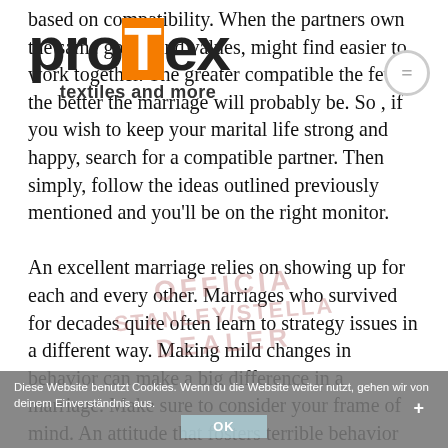[Figure (logo): Protex logo with orange T, tagline 'textiles and more']
based on compatibility. When the partners own the same goals, and values, might find easier to work together. The greater compatible the few, the better the marriage will probably be. So , if you wish to keep your marital life strong and happy, search for a compatible partner. Then simply, follow the ideas outlined previously mentioned and you'll be on the right monitor.

An excellent marriage relies on showing up for each and every other. Marriages who survived for decades quite often learn to strategy issues in a different way. Making mild changes in behavior can make a big difference in a marriage. Make sure to consider your frame of mind. An attitude that fosters terrible behavior will mean negative emotions and actions. If you don't feel maintained your partner, it will be harder for your relationship to thrive.
[Figure (other): OFFICIAL STANLEY/STELLA DEALER watermark overlaid on text]
Diese Website benutzt Cookies. Wenn du die Website weiter nutzt, gehen wir von deinem Einverständnis aus.
OK